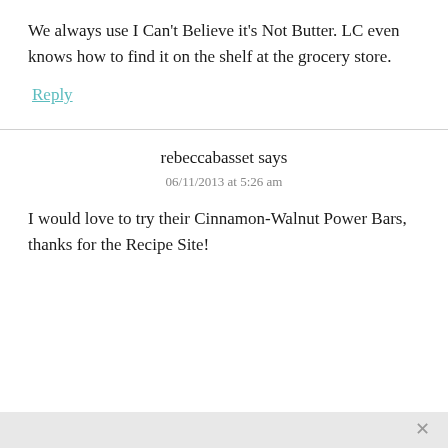We always use I Can't Believe it's Not Butter. LC even knows how to find it on the shelf at the grocery store.
Reply
rebeccabasset says
06/11/2013 at 5:26 am
I would love to try their Cinnamon-Walnut Power Bars, thanks for the Recipe Site!